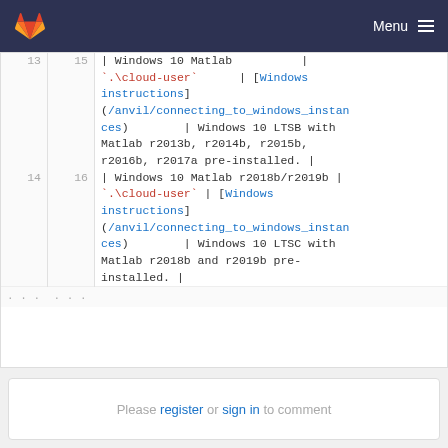GitLab — Menu
13  15  | Windows 10 Matlab | `.\cloud-user` | [Windows instructions](/anvil/connecting_to_windows_instances) | Windows 10 LTSB with Matlab r2013b, r2014b, r2015b, r2016b, r2017a pre-installed. |
14  16  | Windows 10 Matlab r2018b/r2019b | `.\cloud-user` | [Windows instructions](/anvil/connecting_to_windows_instances) | Windows 10 LTSC with Matlab r2018b and r2019b pre-installed. |
Please register or sign in to comment